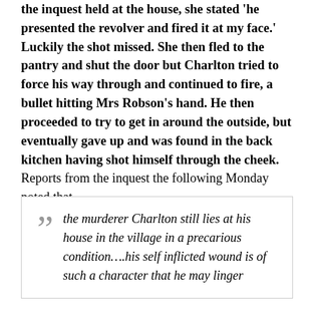the inquest held at the house, she stated 'he presented the revolver and fired it at my face.' Luckily the shot missed. She then fled to the pantry and shut the door but Charlton tried to force his way through and continued to fire, a bullet hitting Mrs Robson's hand. He then proceeded to try to get in around the outside, but eventually gave up and was found in the back kitchen having shot himself through the cheek. Reports from the inquest the following Monday noted that
the murderer Charlton still lies at his house in the village in a precarious condition….his self inflicted wound is of such a character that he may linger